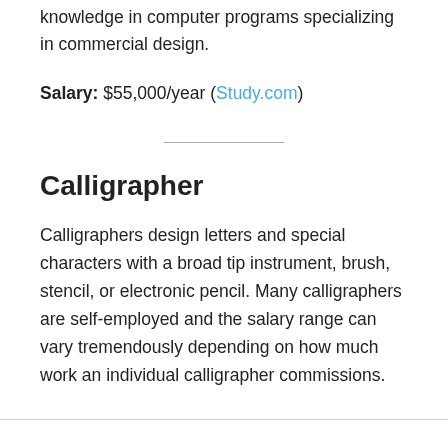knowledge in computer programs specializing in commercial design.
Salary: $55,000/year (Study.com)
Calligrapher
Calligraphers design letters and special characters with a broad tip instrument, brush, stencil, or electronic pencil. Many calligraphers are self-employed and the salary range can vary tremendously depending on how much work an individual calligrapher commissions.